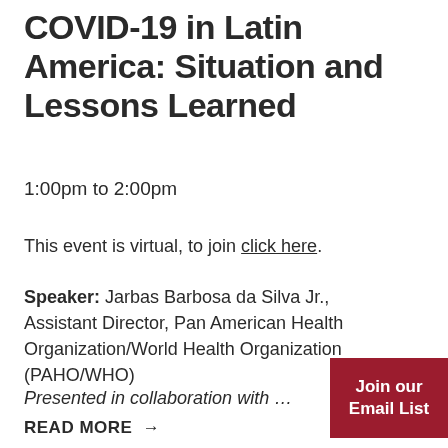COVID-19 in Latin America: Situation and Lessons Learned
1:00pm to 2:00pm
This event is virtual, to join click here.
Speaker: Jarbas Barbosa da Silva Jr., Assistant Director, Pan American Health Organization/World Health Organization (PAHO/WHO)
Presented in collaboration with …
Join our Email List
READ MORE →